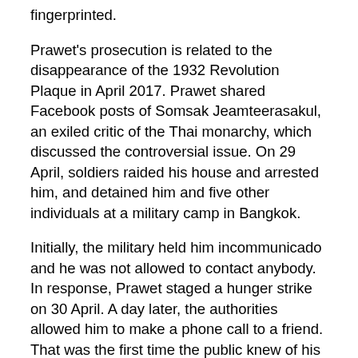fingerprinted.
Prawet's prosecution is related to the disappearance of the 1932 Revolution Plaque in April 2017. Prawet shared Facebook posts of Somsak Jeamteerasakul, an exiled critic of the Thai monarchy, which discussed the controversial issue. On 29 April, soldiers raided his house and arrested him, and detained him and five other individuals at a military camp in Bangkok.
Initially, the military held him incommunicado and he was not allowed to contact anybody. In response, Prawet staged a hunger strike on 30 April. A day later, the authorities allowed him to make a phone call to a friend. That was the first time the public knew of his whereabouts.
In early May, the military transferred the six into police custody and pressed lèse majesté charges against five of them for sharing Somsak's Facebook posts about the missing plaque. The court rejected their bail requests. But the public prosecutor eventually decided not to indict and released them all except Prawet.
In July 2017, when the court held a witness hearing for Prawet's case, Prawet decided to dismiss all his defence lawyers and announced that he did not recognise the